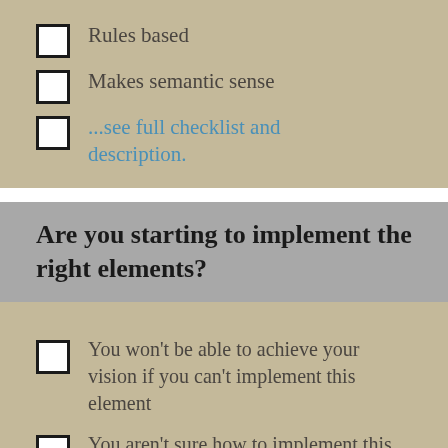Rules based
Makes semantic sense
...see full checklist and description.
Are you starting to implement the right elements?
You won't be able to achieve your vision if you can't implement this element
You aren't sure how to implement this element or you